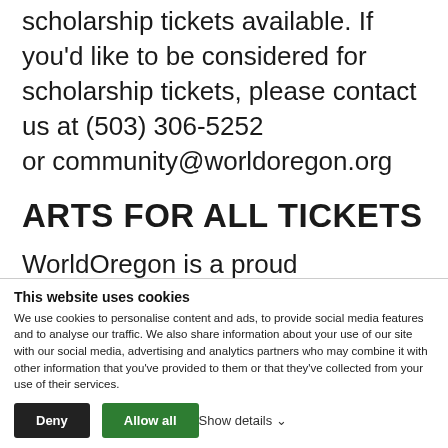scholarship tickets available. If you'd like to be considered for scholarship tickets, please contact us at (503) 306-5252 or community@worldoregon.org
ARTS FOR ALL TICKETS
WorldOregon is a proud participating member of Arts for All. Anyone who receives food stamps (SNAP) and has the Oregon Trail Card is eligible to purchase individual International
This website uses cookies
We use cookies to personalise content and ads, to provide social media features and to analyse our traffic. We also share information about your use of our site with our social media, advertising and analytics partners who may combine it with other information that you've provided to them or that they've collected from your use of their services.
Deny | Allow all | Show details